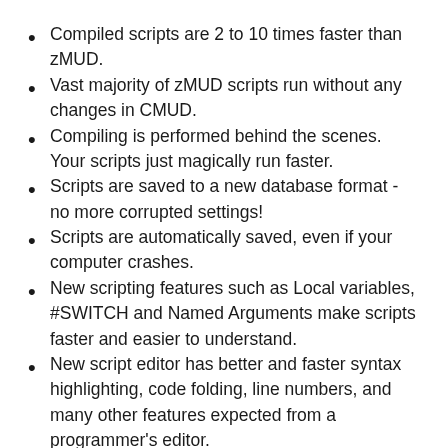Compiled scripts are 2 to 10 times faster than zMUD.
Vast majority of zMUD scripts run without any changes in CMUD.
Compiling is performed behind the scenes. Your scripts just magically run faster.
Scripts are saved to a new database format - no more corrupted settings!
Scripts are automatically saved, even if your computer crashes.
New scripting features such as Local variables, #SWITCH and Named Arguments make scripts faster and easier to understand.
New script editor has better and faster syntax highlighting, code folding, line numbers, and many other features expected from a programmer's editor.
Integrated support for the Lua scripting language for very high-performance scripting.